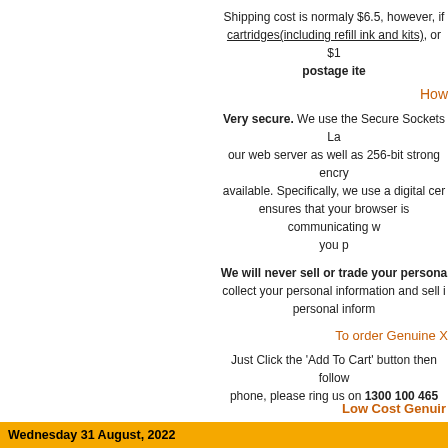Shipping cost is normaly $6.5, however, if cartridges(including refill ink and kits), or $1 postage ite
How
Very secure. We use the Secure Sockets La our web server as well as 256-bit strong encry available. Specifically, we use a digital cer ensures that your browser is communicating w you p
We will never sell or trade your persona collect your personal information and sell i personal inform
To order Genuine X
Just Click the 'Add To Cart' button then follow phone, please ring us on 1300 100 465
Low Cost Genuir
Wednesday 31 August, 2022